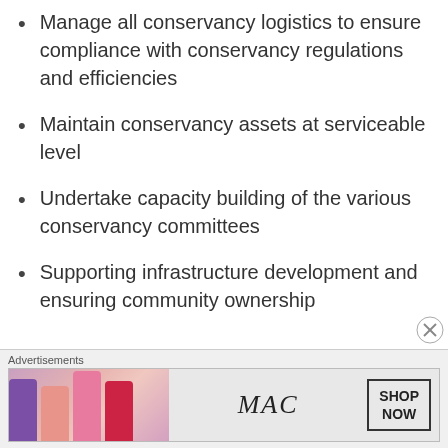Manage all conservancy logistics to ensure compliance with conservancy regulations and efficiencies
Maintain conservancy assets at serviceable level
Undertake capacity building of the various conservancy committees
Supporting infrastructure development and ensuring community ownership
Advertisements